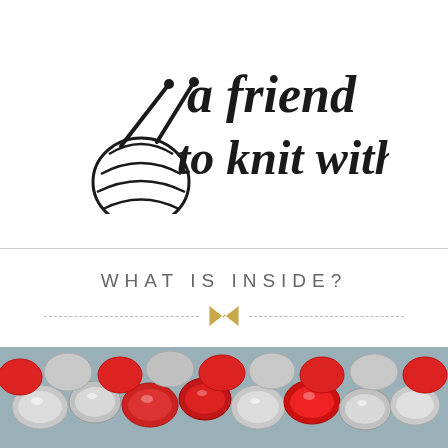[Figure (logo): A friend to knit with logo — yarn ball with knitting needles and script/brush lettering text reading 'a friend to knit with']
WHAT IS INSIDE?
[Figure (photo): Photo of Hershey's chocolate kisses in silver and red foil wrappers piled together]